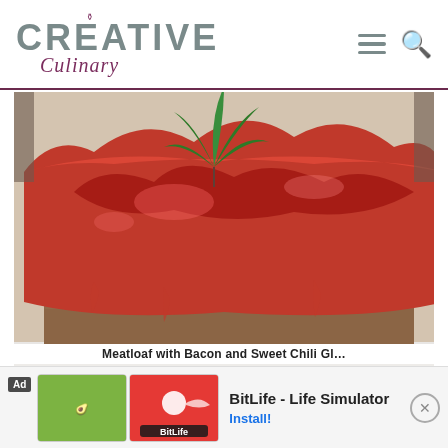Creative Culinary
[Figure (photo): Close-up photo of a glazed meatloaf with red BBQ/chili glaze on top, garnished with fresh parsley, served on a white plate. The meatloaf has a caramelized, shiny red-brown coating.]
Meatloaf with Bacon and Sweet Chili Gl...
[Figure (screenshot): Advertisement banner for BitLife - Life Simulator app. Shows green and red game thumbnails with the BitLife logo, app name, and an Install button.]